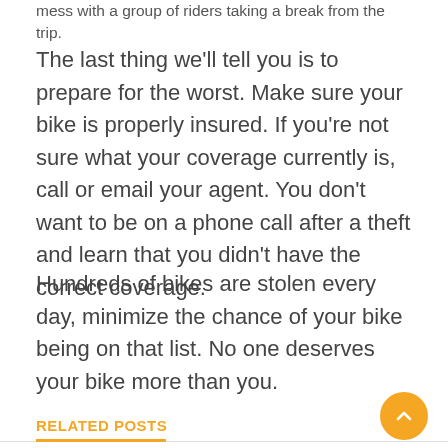mess with a group of riders taking a break from the trip.
The last thing we'll tell you is to prepare for the worst. Make sure your bike is properly insured. If you're not sure what your coverage currently is, call or email your agent. You don't want to be on a phone call after a theft and learn that you didn't have the correct coverage.
Hundreds of bikes are stolen every day, minimize the chance of your bike being on that list. No one deserves your bike more than you.
RELATED POSTS